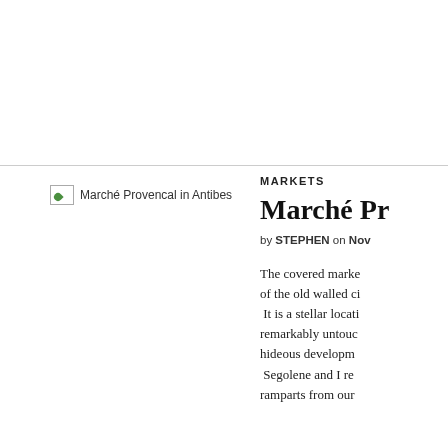[Figure (photo): Placeholder image for Marché Provencal in Antibes with broken image icon and alt text]
MARKETS
Marché Pr
by STEPHEN on Nov
The covered marke of the old walled ci It is a stellar locati remarkably untouc hideous developm Segolene and I re ramparts from our